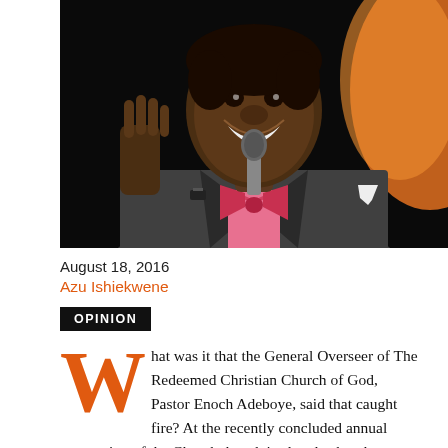[Figure (photo): A man in a pinstripe suit and pink bow tie holding a microphone, smiling, against a dark background with orange glow on right side.]
August 18, 2016
Azu Ishiekwene
OPINION
What was it that the General Overseer of The Redeemed Christian Church of God, Pastor Enoch Adeboye, said that caught fire? At the recently concluded annual convention of the Church, he advised male church workers not to marry women who